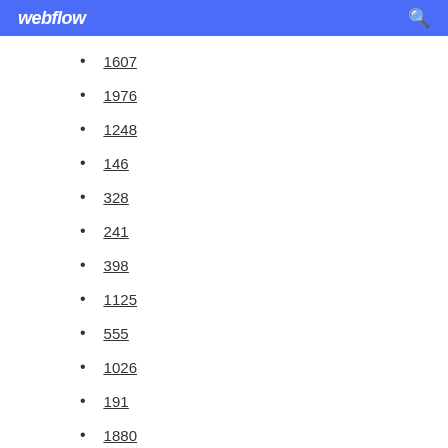webflow
1607
1976
1248
146
328
241
398
1125
555
1026
191
1880